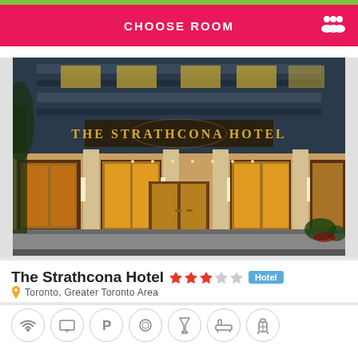CHOOSE ROOM
[Figure (photo): Exterior nighttime photo of The Strathcona Hotel entrance in Toronto, showing illuminated golden lobby entrance, large signage reading THE STRATHCONA HOTEL, glass doors, and city street.]
The Strathcona Hotel ★★★☆☆ Hotel
Toronto, Greater Toronto Area
[Figure (infographic): Row of amenity icons in circular outlines: WiFi, TV, Parking, Restaurant/Dining, Bar, Bathtub/Spa, and another amenity icon.]